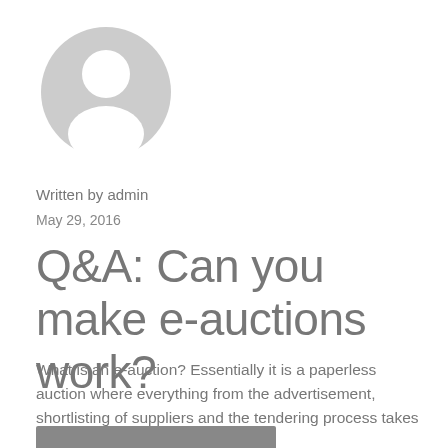[Figure (illustration): Generic user avatar icon — circular grey silhouette of a person on white background]
Written by admin
May 29, 2016
Q&A: Can you make e-auctions work?
What is an e-auction? Essentially it is a paperless auction where everything from the advertisement, shortlisting of suppliers and the tendering process takes place online.
[Figure (other): Dark grey rectangular bar at the bottom of the page, partially visible]